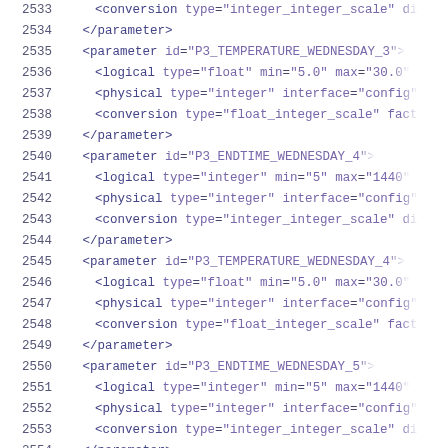XML configuration code listing lines 2533-2554 showing parameter definitions for temperature and endtime Wednesday parameters
2533    <conversion type="integer_integer_scale" di...
2534    </parameter>
2535    <parameter id="P3_TEMPERATURE_WEDNESDAY_3">
2536        <logical type="float" min="5.0" max="30.0"
2537        <physical type="integer" interface="config"
2538        <conversion type="float_integer_scale" fact
2539    </parameter>
2540    <parameter id="P3_ENDTIME_WEDNESDAY_4">
2541        <logical type="integer" min="5" max="1440"
2542        <physical type="integer" interface="config"
2543        <conversion type="integer_integer_scale" di
2544    </parameter>
2545    <parameter id="P3_TEMPERATURE_WEDNESDAY_4">
2546        <logical type="float" min="5.0" max="30.0"
2547        <physical type="integer" interface="config"
2548        <conversion type="float_integer_scale" fact
2549    </parameter>
2550    <parameter id="P3_ENDTIME_WEDNESDAY_5">
2551        <logical type="integer" min="5" max="1440"
2552        <physical type="integer" interface="config"
2553        <conversion type="integer_integer_scale" di
2554    </parameter>